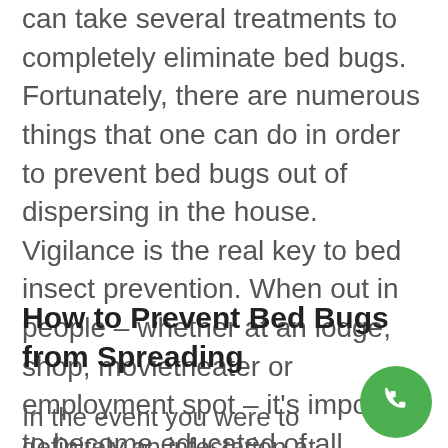can take several treatments to completely eliminate bed bugs. Fortunately, there are numerous things that one can do in order to prevent bed bugs out of dispersing in the house. Vigilance is the real key to bed insect prevention. When out in people – whether at an lodge, shop, movietheater or employment spot – it's important to become educated of all surroundings.
How to Prevent Bed Bugs from Spreading
In the event you were to think there's definitely an infestation at house, there
[Figure (illustration): Green circular phone call button icon in the bottom right corner]